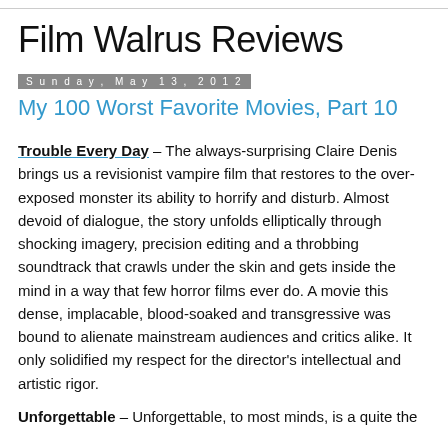Film Walrus Reviews
Sunday, May 13, 2012
My 100 Worst Favorite Movies, Part 10
Trouble Every Day – The always-surprising Claire Denis brings us a revisionist vampire film that restores to the over-exposed monster its ability to horrify and disturb. Almost devoid of dialogue, the story unfolds elliptically through shocking imagery, precision editing and a throbbing soundtrack that crawls under the skin and gets inside the mind in a way that few horror films ever do. A movie this dense, implacable, blood-soaked and transgressive was bound to alienate mainstream audiences and critics alike. It only solidified my respect for the director's intellectual and artistic rigor.
Unforgettable – Unforgettable, to most minds, is a quite the